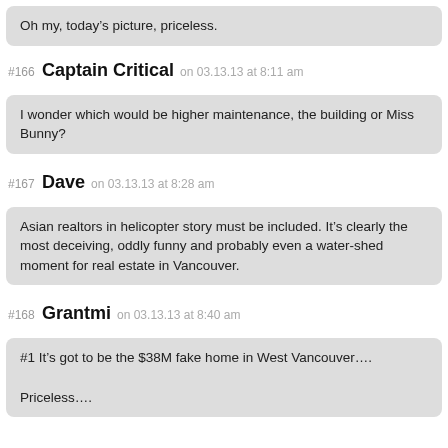Oh my, today’s picture, priceless.
#166 Captain Critical on 03.13.13 at 8:11 am
I wonder which would be higher maintenance, the building or Miss Bunny?
#167 Dave on 03.13.13 at 8:28 am
Asian realtors in helicopter story must be included. It’s clearly the most deceiving, oddly funny and probably even a water-shed moment for real estate in Vancouver.
#168 Grantmi on 03.13.13 at 8:40 am
#1 It’s got to be the $38M fake home in West Vancouver….

Priceless….